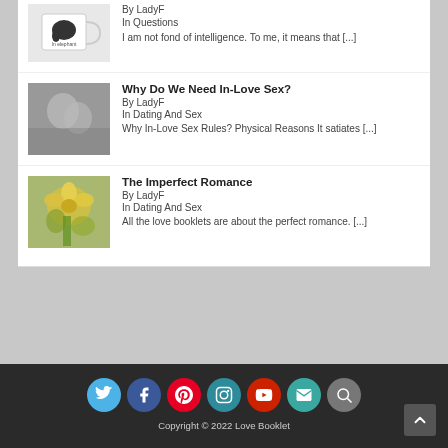[Figure (photo): Mug with elephant graphic (partial, top of page)]
By LadyF
In Questions
I am not fond of intelligence. To me, it means that [...]
[Figure (photo): Black and white photo of couple embracing]
Why Do We Need In-Love Sex?
By LadyF
In Dating And Sex
Why In-Love Sex Rules? Physical Reasons It satiates [...]
[Figure (photo): Photo of yellow flowers held by someone]
The Imperfect Romance
By LadyF
In Dating And Sex
All the love booklets are about the perfect romance. [...]
Copyright © 2022 Love Booklet